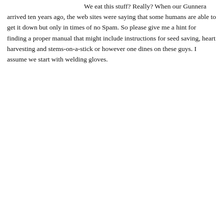We eat this stuff? Really? When our Gunnera arrived ten years ago, the web sites were saying that some humans are able to get it down but only in times of no Spam. So please give me a hint for finding a proper manual that might include instructions for seed saving, heart harvesting and stems-on-a-stick or however one dines on these guys. I assume we start with welding gloves.
Cat says
January 1, 2016 at 10:34 pm
I think she's saying that this rhubarb plant was so large it looked like it could be a gunnera, not that it actually is. Rhubarb stalks are edible and are great in pies and crisps as well as the Rhubarb 75 drink elsewhere on this blog. Harvesting rhubarb does not require welding